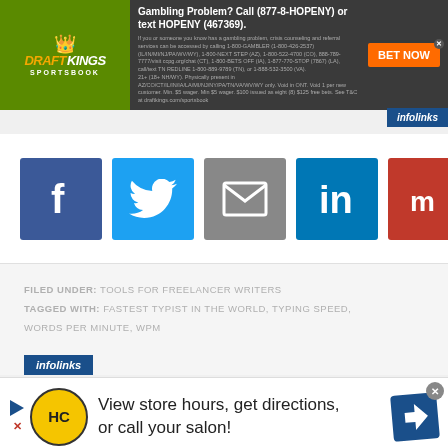[Figure (screenshot): DraftKings Sportsbook advertisement banner with gambling problem helpline text and BET NOW button]
[Figure (screenshot): Social media share buttons: Facebook, Twitter, Email, LinkedIn, Mix]
FILED UNDER: TOOLS FOR FREELANCER WRITERS
TAGGED WITH: FASTEST TYPIST IN THE WORLD, TYPING SPEED, WORDS PER MINUTE, WPM
[Figure (screenshot): Infolinks ad bar at bottom with HC salon ad: View store hours, get directions, or call your salon!]